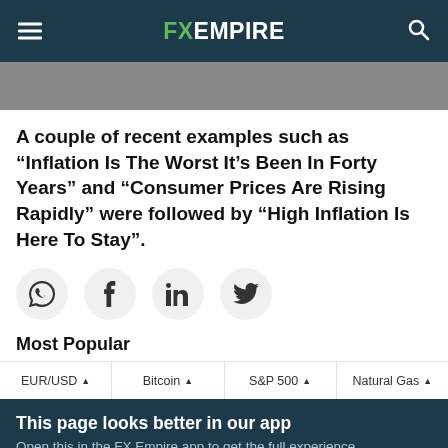FX EMPIRE
[Figure (photo): Partial view of a hero image at the top of the article]
A couple of recent examples such as “Inflation Is The Worst It’s Been In Forty Years” and “Consumer Prices Are Rising Rapidly” were followed by “High Inflation Is Here To Stay”.
[Figure (infographic): Social sharing icons: WhatsApp, Facebook, LinkedIn, Twitter]
Most Popular
EUR/USD   Bitcoin   S&P 500   Natural Gas
This page looks better in our app
Open this in the FX Empire app to get the full experience.
NEXT TIME   OPEN IN APP